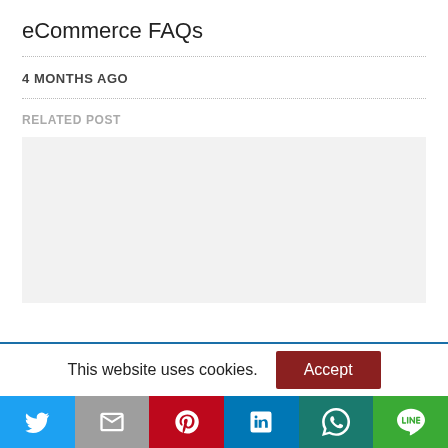eCommerce FAQs
4 MONTHS AGO
RELATED POST
[Figure (other): Gray placeholder box for related post image]
This website uses cookies.
[Figure (other): Social sharing bar with Twitter, Gmail, Pinterest, LinkedIn, WhatsApp, LINE icons]